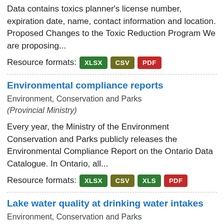Data contains toxics planner's license number, expiration date, name, contact information and location. Proposed Changes to the Toxic Reduction Program We are proposing...
Resource formats: XLSX CSV PDF
Environmental compliance reports
Environment, Conservation and Parks
(Provincial Ministry)
Every year, the Ministry of the Environment Conservation and Parks publicly releases the Environmental Compliance Report on the Ontario Data Catalogue. In Ontario, all...
Resource formats: XLSX CSV XLS PDF
Lake water quality at drinking water intakes
Environment, Conservation and Parks